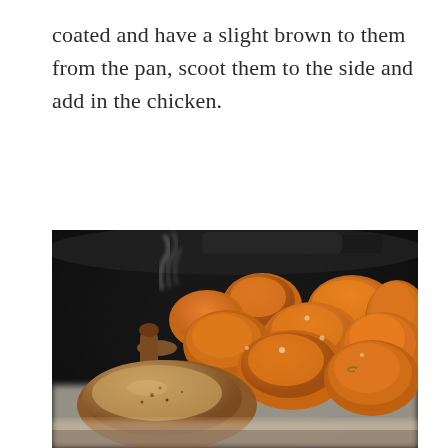coated and have a slight brown to them from the pan, scoot them to the side and add in the chicken.
[Figure (photo): A cast iron skillet with chunks of roasted butternut squash and browned chicken pieces cooking together. Steam is visible rising from the pan. The vegetables are golden-orange and glazed, and the chicken is seasoned and seared.]